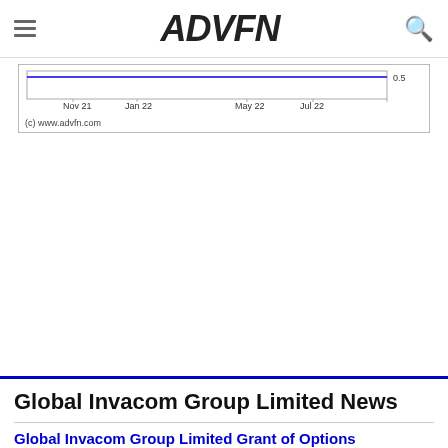ADVFN
[Figure (continuous-plot): Partial stock price chart showing x-axis labels: Nov 21, Jan 22, May 22, Jul 22, with a value of 0.5 on the right axis. A blue horizontal line is visible near the top of the chart area.]
(c) www.advfn.com
Global Invacom Group Limited News
Global Invacom Group Limited Grant of Options